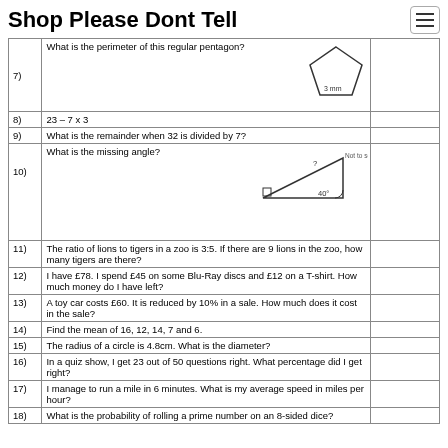Shop Please Dont Tell
| # | Question | Answer |
| --- | --- | --- |
| 7) | What is the perimeter of this regular pentagon? [pentagon diagram, 3 mm side] |  |
| 8) | 23 – 7 x 3 |  |
| 9) | What is the remainder when 32 is divided by 7? |  |
| 10) | What is the missing angle? [right triangle diagram, 40°, ?] |  |
| 11) | The ratio of lions to tigers in a zoo is 3:5. If there are 9 lions in the zoo, how many tigers are there? |  |
| 12) | I have £78. I spend £45 on some Blu-Ray discs and £12 on a T-shirt. How much money do I have left? |  |
| 13) | A toy car costs £60. It is reduced by 10% in a sale. How much does it cost in the sale? |  |
| 14) | Find the mean of 16, 12, 14, 7 and 6. |  |
| 15) | The radius of a circle is 4.8cm. What is the diameter? |  |
| 16) | In a quiz show, I get 23 out of 50 questions right. What percentage did I get right? |  |
| 17) | I manage to run a mile in 6 minutes. What is my average speed in miles per hour? |  |
| 18) | What is the probability of rolling a prime number on an 8-sided dice? |  |